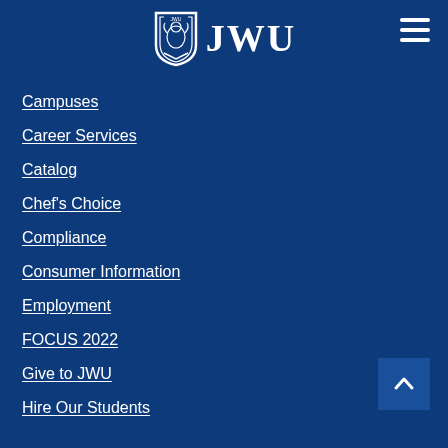[Figure (logo): JWU (Johnson & Wales University) shield logo with griffin and text 'JWU' in white on dark blue background]
Campuses
Career Services
Catalog
Chef's Choice
Compliance
Consumer Information
Employment
FOCUS 2022
Give to JWU
Hire Our Students